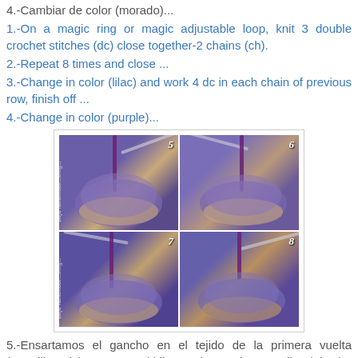4.-Cambiar de color (morado)...
1.-On a magic ring or magic adjustable loop, knit 3 double crochet stitches (dc) close together-2 chains (ch).
2.-Repeat 8 times and close ...
3.-Change in color (lilac) and work 4 dc in each chain of previous row, finish off ...
4.-Change in color (purple)...
[Figure (photo): 2x2 grid of crochet step-by-step photos labeled 5, 6, 7, 8 showing purple and beige crochet work with a hook, watermark reads 'Buju handmade...blog...']
5.-Ensartamos el gancho en el tejido de la primera vuelta (amarillo paja), sacamos el hilo y estiramos hasta arriba del color lila...
6.-Tejemos 1 punto bajo (p.b) sobre esta lazada...
7.-Ahora tejemos 1 punto enano (p.e) en el siguiente punto...
8.-En el siguiente punto injertamos (2 p.e., 2 p.b., 2 p.e...